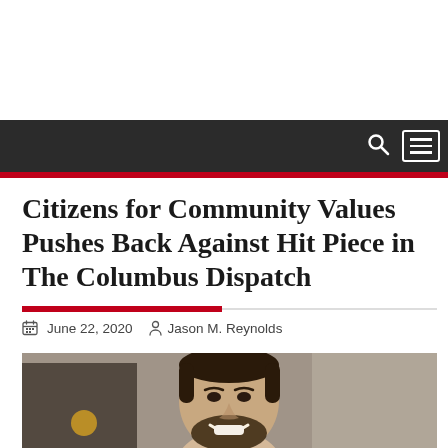Navigation bar with search and menu icons
Citizens for Community Values Pushes Back Against Hit Piece in The Columbus Dispatch
June 22, 2020  Jason M. Reynolds
[Figure (photo): Headshot of a young man with dark hair and beard, smiling, photographed outdoors with a blurred background]